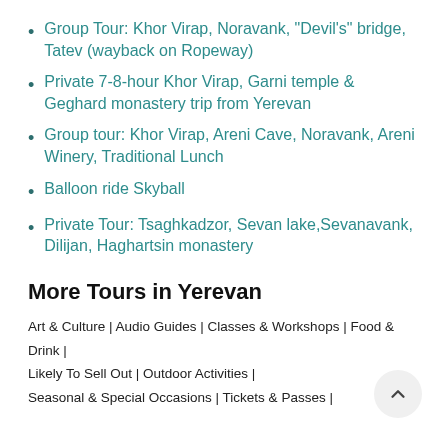Group Tour: Khor Virap, Noravank, "Devil's" bridge, Tatev (wayback on Ropeway)
Private 7-8-hour Khor Virap, Garni temple & Geghard monastery trip from Yerevan
Group tour: Khor Virap, Areni Cave, Noravank, Areni Winery, Traditional Lunch
Balloon ride Skyball
Private Tour: Tsaghkadzor, Sevan lake,Sevanavank, Dilijan, Haghartsin monastery
More Tours in Yerevan
Art & Culture | Audio Guides | Classes & Workshops | Food & Drink | Likely To Sell Out | Outdoor Activities | Seasonal & Special Occasions | Tickets & Passes |